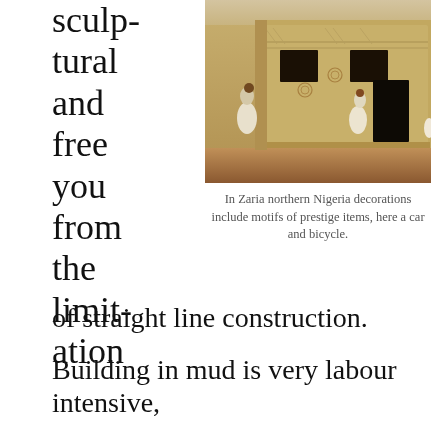sculptural and free you from the limitation
[Figure (photo): Photograph of a mud building in Zaria, northern Nigeria, with elaborate geometric and sculpted decorations on the facade including motifs of prestige items such as a car and bicycle. Two figures in white robes are visible in front of the building.]
In Zaria northern Nigeria decorations include motifs of prestige items, here a car and bicycle.
of straight line construction.
Building in mud is very labour intensive,